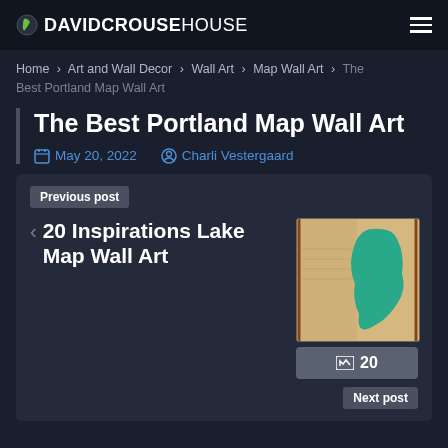DAVIDCROUSEHOUSE
Home › Art and Wall Decor › Wall Art › Map Wall Art › The Best Portland Map Wall Art
The Best Portland Map Wall Art
May 20, 2022  Charli Vestergaard
Previous post
< 20 Inspirations Lake Map Wall Art
[Figure (photo): Thumbnail image of a lake map wall art piece showing a teal/turquoise lake shape on a beige/tan background]
20
Next post